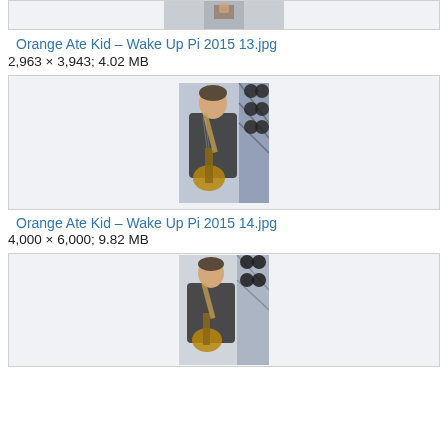[Figure (photo): Partial image of a performer, cropped at the top of the page]
Orange Ate Kid – Wake Up Pi 2015 13.jpg
2,963 × 3,943; 4.02 MB
[Figure (photo): Guitarist performing on stage, wearing dark shirt, playing a guitar in front of stage lighting rig]
Orange Ate Kid – Wake Up Pi 2015 14.jpg
4,000 × 6,000; 9.82 MB
[Figure (photo): Guitarist performing on stage, similar angle, wearing dark shirt, playing guitar with stage lighting rig behind]